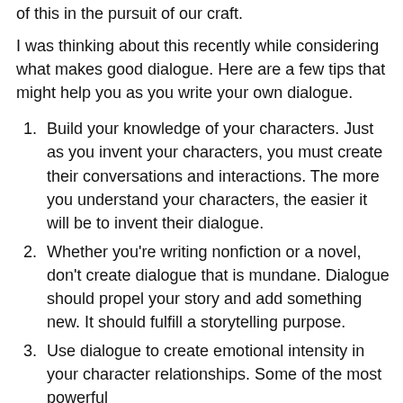of this in the pursuit of our craft.
I was thinking about this recently while considering what makes good dialogue. Here are a few tips that might help you as you write your own dialogue.
Build your knowledge of your characters. Just as you invent your characters, you must create their conversations and interactions. The more you understand your characters, the easier it will be to invent their dialogue.
Whether you're writing nonfiction or a novel, don't create dialogue that is mundane. Dialogue should propel your story and add something new. It should fulfill a storytelling purpose.
Use dialogue to create emotional intensity in your character relationships. Some of the most powerful